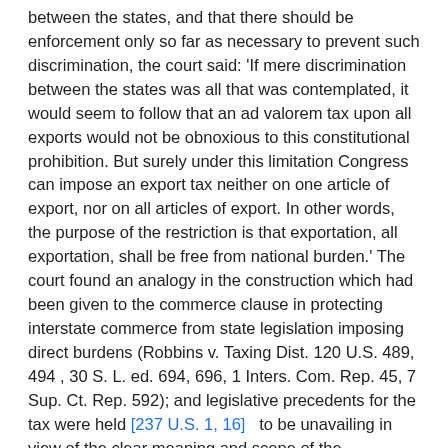between the states, and that there should be enforcement only so far as necessary to prevent such discrimination, the court said: 'If mere discrimination between the states was all that was contemplated, it would seem to follow that an ad valorem tax upon all exports would not be obnoxious to this constitutional prohibition. But surely under this limitation Congress can impose an export tax neither on one article of export, nor on all articles of export. In other words, the purpose of the restriction is that exportation, all exportation, shall be free from national burden.' The court found an analogy in the construction which had been given to the commerce clause in protecting interstate commerce from state legislation imposing direct burdens (Robbins v. Taxing Dist. 120 U.S. 489, 494 , 30 S. L. ed. 694, 696, 1 Inters. Com. Rep. 45, 7 Sup. Ct. Rep. 592); and legislative precedents for the tax were held [237 U.S. 1, 16]   to be unavailing in view of the clear meaning and scope of the constitutional provision.